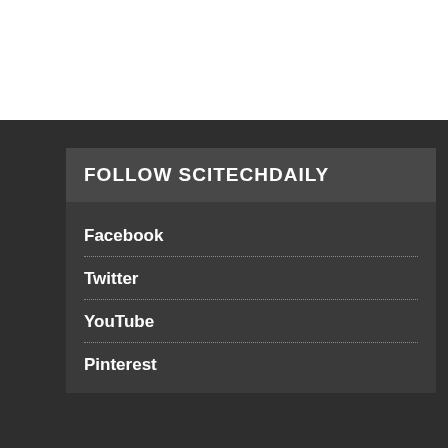FOLLOW SCITECHDAILY
Facebook
Twitter
YouTube
Pinterest
[Figure (advertisement): CVS Pharmacy advertisement showing in-store shopping, drive-through, and delivery options with a navigation arrow icon]